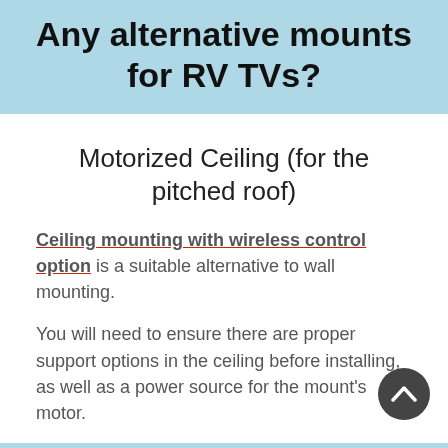Any alternative mounts for RV TVs?
Motorized Ceiling (for the pitched roof)
Ceiling mounting with wireless control option is a suitable alternative to wall mounting.
You will need to ensure there are proper support options in the ceiling before installing, as well as a power source for the mount's motor.
Basic installation and waterproofing skills may be needed.